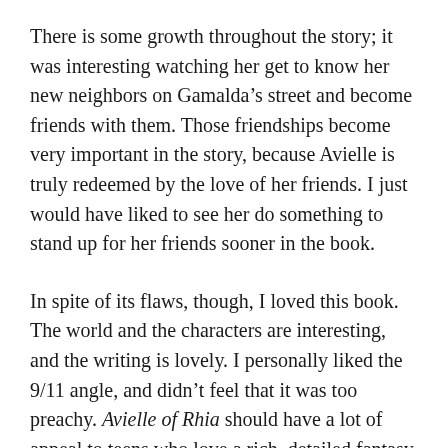There is some growth throughout the story; it was interesting watching her get to know her new neighbors on Gamalda’s street and become friends with them. Those friendships become very important in the story, because Avielle is truly redeemed by the love of her friends. I just would have liked to see her do something to stand up for her friends sooner in the book.
In spite of its flaws, though, I loved this book. The world and the characters are interesting, and the writing is lovely. I personally liked the 9/11 angle, and didn’t feel that it was too preachy. Avielle of Rhia should have a lot of appeal to teens who love a rich, detailed fantasy world.